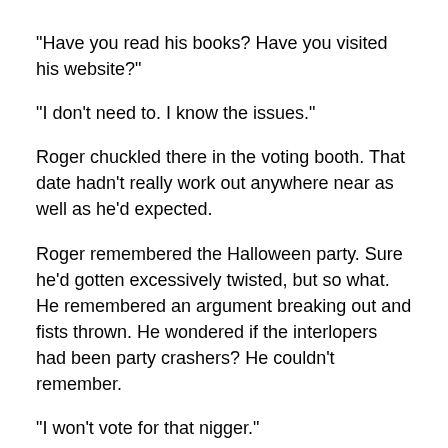"Have you read his books? Have you visited his website?"
"I don't need to. I know the issues."
Roger chuckled there in the voting booth. That date hadn't really work out anywhere near as well as he'd expected.
Roger remembered the Halloween party. Sure he'd gotten excessively twisted, but so what. He remembered an argument breaking out and fists thrown. He wondered if the interlopers had been party crashers? He couldn't remember.
"I won't vote for that nigger."
"What did you say?"
"You heard me."
"Take it back."
"Make me."
Roger grabbed his shirt and shoved him against...